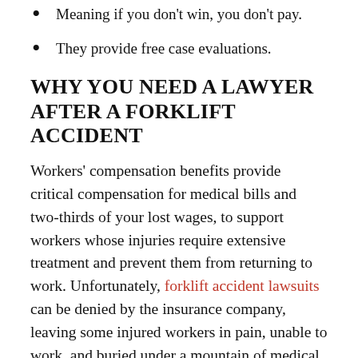Meaning if you don't win, you don't pay.
They provide free case evaluations.
WHY YOU NEED A LAWYER AFTER A FORKLIFT ACCIDENT
Workers' compensation benefits provide critical compensation for medical bills and two-thirds of your lost wages, to support workers whose injuries require extensive treatment and prevent them from returning to work. Unfortunately, forklift accident lawsuits can be denied by the insurance company, leaving some injured workers in pain, unable to work, and buried under a mountain of medical bills. With the help of a workplace injury attorney, forklift accident victims can fight for their rights and appeal a rejected workers' compensation claim. In circumstances in which a forklift injury was caused by a third party, such as a defective equipment manufacturer, there may be